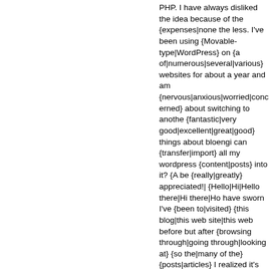PHP. I have always disliked the idea because of the {expenses|none the less. I've been using {Movable-type|WordPress} on {a of|numerous|several|various} websites for about a year and am {nervous|anxious|worried|concerned} about switching to anothe {fantastic|very good|excellent|great|good} things about bloengi can {transfer|import} all my wordpress {content|posts} into it? {A be {really|greatly} appreciated!| {Hello|Hi|Hello there|Hi there|Ho have sworn I've {been to|visited} {this blog|this web site|this web before but after {browsing through|going through|looking at} {so the|many of the} {posts|articles} I realized it's new to me. {Anyways|Anyhow|Nonetheless|Regardless}, I'm {definitely|cert {happy|pleased|delighted} {I found|I discovered|I came across|I be {bookmarking|book-marking} it and checking back {frequently {Terrific|Great|Wonderful} {article|work}! {This is|That is} {the typ {information|info} {that are meant to|that are supposed to|that sh the|across the} {web|internet|net}. {Disgrace|Shame} on {the {se engines|Google} for {now not|not|no longer} positioning this {pos {upper|higher}! Come on over and {talk over with|discuss with|se from|visit|consult with} my {site|web site|website} . {Thank you|T for the first time here. I {came across|found} this board and I fin helped me out {a lot|much}. I hope to give something back and {helped|aided} me.| {Hi|Hello|Hi there|Hello there|Howdy|Greeti believe|I do think|There's no doubt that} {your site|your website| {might be|may be|could be|could possibly be} having {browser|in browser} compatibility {issues|problems}. {When I|Whenever I}